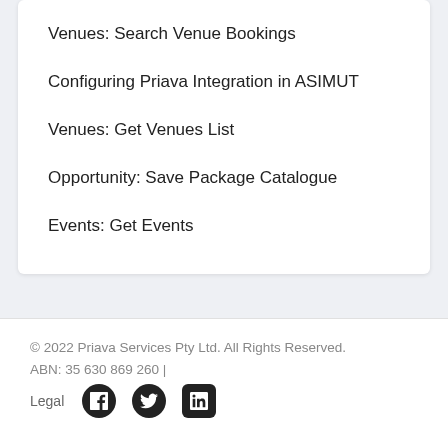Venues: Search Venue Bookings
Configuring Priava Integration in ASIMUT
Venues: Get Venues List
Opportunity: Save Package Catalogue
Events: Get Events
© 2022 Priava Services Pty Ltd. All Rights Reserved. ABN: 35 630 869 260 | Legal